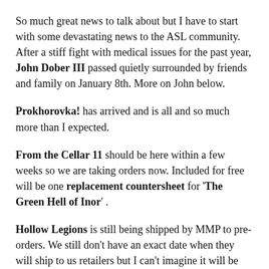So much great news to talk about but I have to start with some devastating news to the ASL community. After a stiff fight with medical issues for the past year, John Dober III passed quietly surrounded by friends and family on January 8th. More on John below.
Prokhorovka! has arrived and is all and so much more than I expected.
From the Cellar 11 should be here within a few weeks so we are taking orders now. Included for free will be one replacement countersheet for 'The Green Hell of Inor'.
Hollow Legions is still being shipped by MMP to pre-orders. We still don't have an exact date when they will ship to us retailers but I can't imagine it will be much longer.
Le Franc Tireur From the Cellar 11 is finishing up at the printer